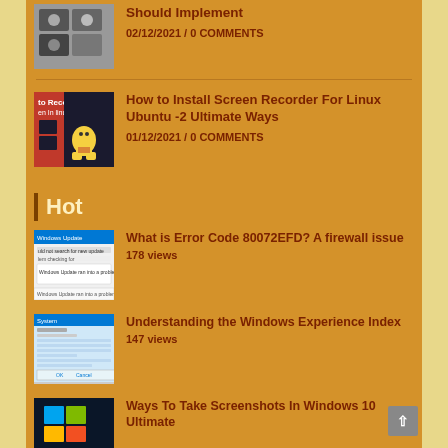[Figure (screenshot): Thumbnail image of people on video call]
Should Implement
02/12/2021 / 0 COMMENTS
[Figure (screenshot): Thumbnail: How to Record Screen In Linux? with Linux penguin logo]
How to Install Screen Recorder For Linux Ubuntu -2 Ultimate Ways
01/12/2021 / 0 COMMENTS
Hot
[Figure (screenshot): Thumbnail: Windows Update error screen showing 'could not search for new updates']
What is Error Code 80072EFD? A firewall issue
178 views
[Figure (screenshot): Thumbnail: Windows Experience Index settings window]
Understanding the Windows Experience Index
147 views
[Figure (screenshot): Thumbnail: Dark blue Windows logo / screenshots windows]
Ways To Take Screenshots In Windows 10 Ultimate